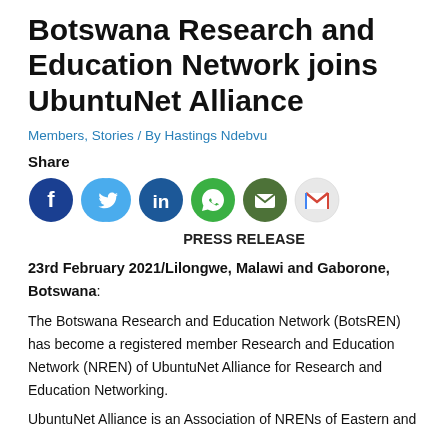Botswana Research and Education Network joins UbuntuNet Alliance
Members, Stories / By Hastings Ndebvu
Share
[Figure (infographic): Six social media sharing icons: Facebook (dark blue circle), Twitter (light blue circle), LinkedIn (dark blue circle), WhatsApp (green circle), Email (olive/dark green circle with envelope), Gmail (light gray circle with red M logo)]
PRESS RELEASE
23rd February 2021/Lilongwe, Malawi and Gaborone, Botswana:
The Botswana Research and Education Network (BotsREN) has become a registered member Research and Education Network (NREN) of UbuntuNet Alliance for Research and Education Networking.
UbuntuNet Alliance is an Association of NRENs of Eastern and...